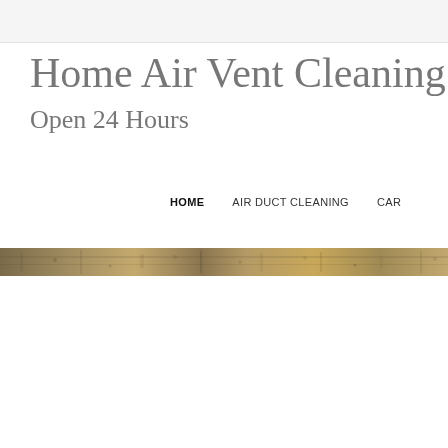Home Air Vent Cleaning
Open 24 Hours
HOME    AIR DUCT CLEANING    CAR
[Figure (photo): Horizontal banner image showing a textured stone or granite surface with brown, tan, and dark speckled pattern, cropped as a narrow strip across the full width of the page.]